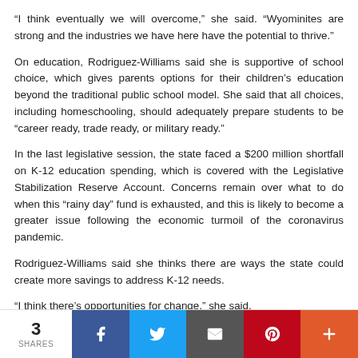“I think eventually we will overcome,” she said. “Wyominites are strong and the industries we have here have the potential to thrive.”
On education, Rodriguez-Williams said she is supportive of school choice, which gives parents options for their children’s education beyond the traditional public school model. She said that all choices, including homeschooling, should adequately prepare students to be “career ready, trade ready, or military ready.”
In the last legislative session, the state faced a $200 million shortfall on K-12 education spending, which is covered with the Legislative Stabilization Reserve Account. Concerns remain over what to do when this “rainy day” fund is exhausted, and this is likely to become a greater issue following the economic turmoil of the coronavirus pandemic.
Rodriguez-Williams said she thinks there are ways the state could create more savings to address K-12 needs.
“I think there’s opportunities for change,” she said.
3 SHARES | Facebook | Twitter | Email | Pinterest | More